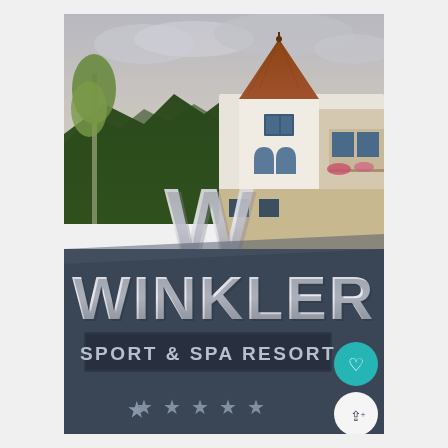[Figure (photo): Photo of Winkler Sport & Spa Resort hotel exterior. A large dark grey sign in the foreground reads 'WINKLER' in bold silver letters, with 'SPORT & SPA RESORT' below in a rectangular panel, and five stars beneath. Behind the sign is a large white alpine-style hotel building with a distinctive brown tiled pyramidal tower roof and arched windows. Green trees and mountains are visible in the background under a cloudy sky. A large 3D silver 'W' logo stands behind the sign. Two circular UI buttons (heart/favorite and share) are visible at the right edge.]